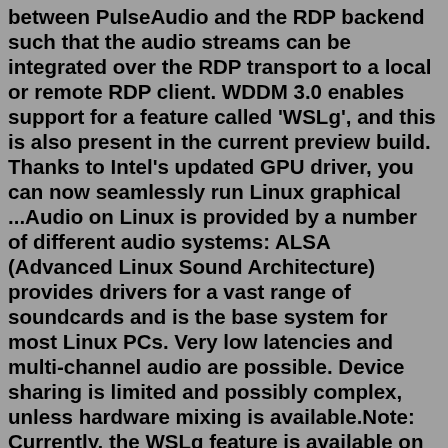between PulseAudio and the RDP backend such that the audio streams can be integrated over the RDP transport to a local or remote RDP client. WDDM 3.0 enables support for a feature called 'WSLg', and this is also present in the current preview build. Thanks to Intel's updated GPU driver, you can now seamlessly run Linux graphical ...Audio on Linux is provided by a number of different audio systems: ALSA (Advanced Linux Sound Architecture) provides drivers for a vast range of soundcards and is the base system for most Linux PCs. Very low latencies and multi-channel audio are possible. Device sharing is limited and possibly complex, unless hardware mixing is available.Note: Currently, the WSLg feature is available on Windows Insiders preview build 21364 or higher. After a few months, it will be available to stable Windows 10 users. ... Now, you can even run media apps as it supports mic and audio. Besides that, the Windows Subsystem for Linux is a legit way for developers and general consumers to enjoy the ...Audio and microphone support is included, too.